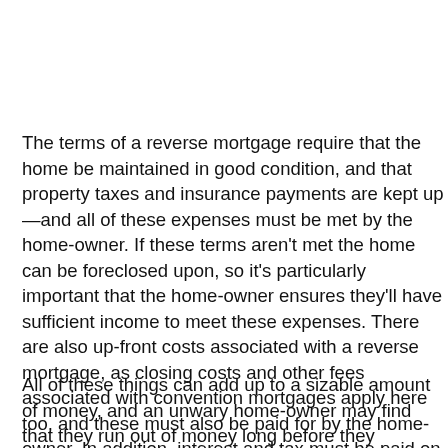The terms of a reverse mortgage require that the home be maintained in good condition, and that property taxes and insurance payments are kept up—and all of these expenses must be met by the home-owner. If these terms aren't met the home can be foreclosed upon, so it's particularly important that the home-owner ensures they'll have sufficient income to meet these expenses. There are also up-front costs associated with a reverse mortgage, as closing costs and other fees associated with convention mortgages apply here too, and these must also be paid for by the home-owner. In addition, interest and tax must be paid on the money that the home-owner receives.
All of these things can add up to a sizable amount of money, and an unwary home-owner may find that they run out of money long before they anticipated. Since people are on average living longer, it's not at all impossible, and once all the equity is gone, the only way to pay back the loan is selling the house—which means both home and income are